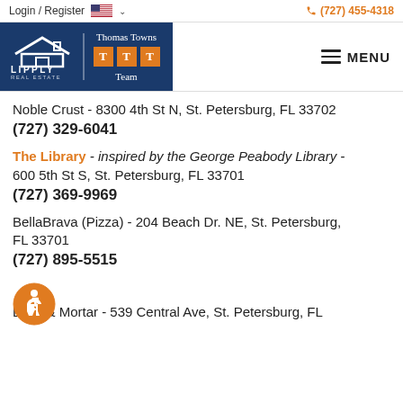Login / Register  (727) 455-4318
[Figure (logo): Lipply Real Estate | Thomas Towns TTT Team logo on dark blue background]
Noble Crust - 8300 4th St N, St. Petersburg, FL 33702
(727) 329-6041
The Library - inspired by the George Peabody Library - 600 5th St S, St. Petersburg, FL 33701
(727) 369-9969
BellaBrava (Pizza) - 204 Beach Dr. NE, St. Petersburg, FL 33701
(727) 895-5515
Brick & Mortar - 539 Central Ave, St. Petersburg, FL